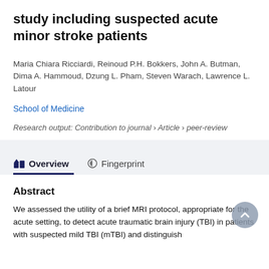study including suspected acute minor stroke patients
Maria Chiara Ricciardi, Reinoud P.H. Bokkers, John A. Butman, Dima A. Hammoud, Dzung L. Pham, Steven Warach, Lawrence L. Latour
School of Medicine
Research output: Contribution to journal › Article › peer-review
Abstract
We assessed the utility of a brief MRI protocol, appropriate for the acute setting, to detect acute traumatic brain injury (TBI) in patients with suspected mild TBI (mTBI) and distinguish